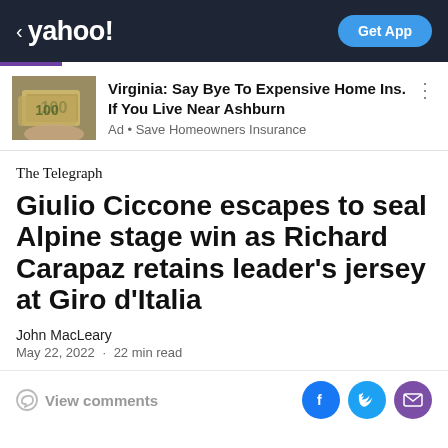< yahoo!   Get App
[Figure (photo): Hand holding US dollar bills, advertisement thumbnail image]
Virginia: Say Bye To Expensive Home Ins. If You Live Near Ashburn
Ad • Save Homeowners Insurance
The Telegraph
Giulio Ciccone escapes to seal Alpine stage win as Richard Carapaz retains leader's jersey at Giro d'Italia
John MacLeary
May 22, 2022  ·  22 min read
View comments